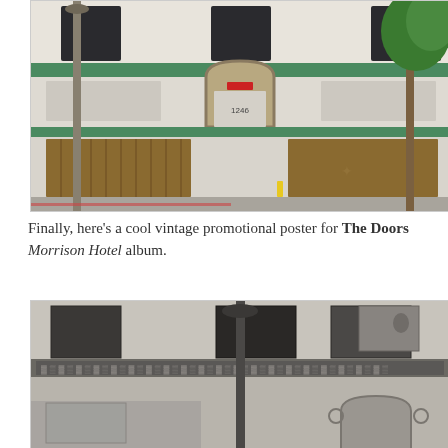[Figure (photo): Color photograph of the Morrison Hotel building facade, showing a white tile building with green trim, a central arched doorway numbered 1246, boarded-up windows with wooden and iron grating, a street lamp on the left, and a tree on the right.]
Finally, here's a cool vintage promotional poster for The Doors Morrison Hotel album.
[Figure (photo): Black and white photograph of the Morrison Hotel building exterior, showing the upper facade with windows, ornate tile frieze, a street lamp in the center, and the beginning of the arched entrance visible at the bottom right.]